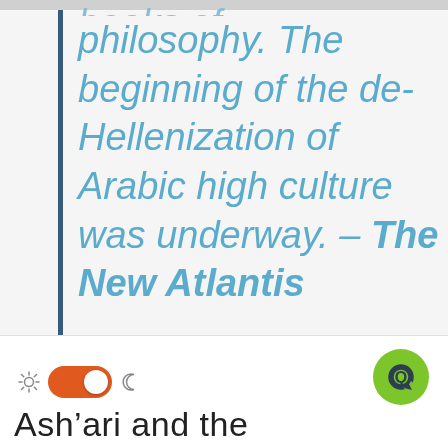books of philosophy. The beginning of the de-Hellenization of Arabic high culture was underway. – The New Atlantis
[Figure (screenshot): Dark/light mode toggle switch in orange/on position, flanked by sun and moon icons]
Ash'ari and the